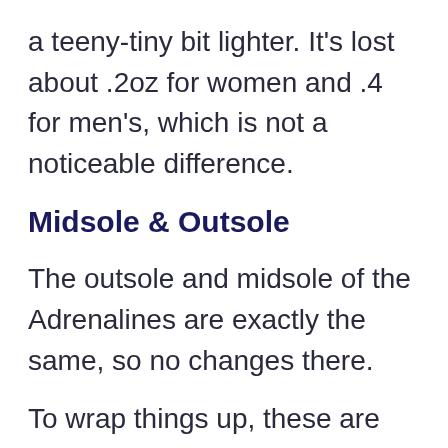a teeny-tiny bit lighter. It's lost about .2oz for women and .4 for men's, which is not a noticeable difference.
Midsole & Outsole
The outsole and midsole of the Adrenalines are exactly the same, so no changes there.
To wrap things up, these are the things I really like about the Adrenaline GTS 20: